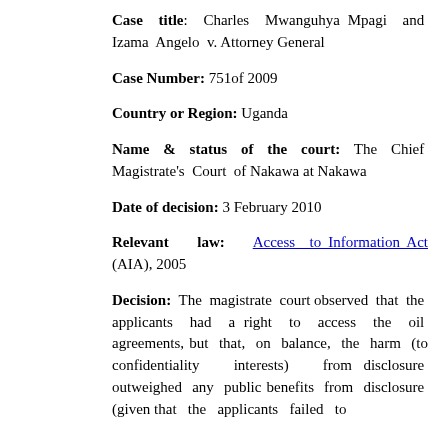Case title: Charles Mwanguhya Mpagi and Izama Angelo v. Attorney General
Case Number: 751of 2009
Country or Region: Uganda
Name & status of the court: The Chief Magistrate's Court of Nakawa at Nakawa
Date of decision: 3 February 2010
Relevant law: Access to Information Act (AIA), 2005
Decision: The magistrate court observed that the applicants had a right to access the oil agreements, but that, on balance, the harm (to confidentiality interests) from disclosure outweighed any public benefits from disclosure (given that the applicants failed to